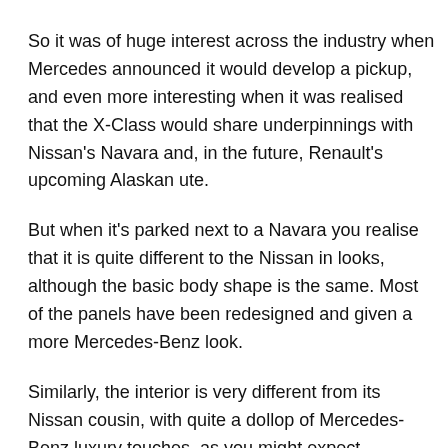So it was of huge interest across the industry when Mercedes announced it would develop a pickup, and even more interesting when it was realised that the X-Class would share underpinnings with Nissan's Navara and, in the future, Renault's upcoming Alaskan ute.
But when it's parked next to a Navara you realise that it is quite different to the Nissan in looks, although the basic body shape is the same. Most of the panels have been redesigned and given a more Mercedes-Benz look.
Similarly, the interior is very different from its Nissan cousin, with quite a dollop of Mercedes-Benz luxury touches, as you might expect, particularly since we were testing the top of the line X250d Power model.
In fact, it's hard to think of a more accurate way to...